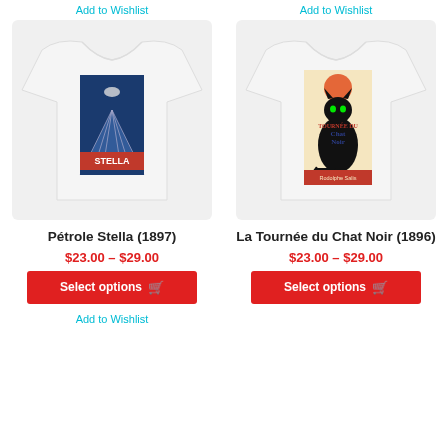Add to Wishlist
Add to Wishlist
[Figure (photo): White t-shirt with Pétrole Stella (1897) vintage poster graphic]
[Figure (photo): White t-shirt with La Tournée du Chat Noir (1896) vintage poster graphic]
Pétrole Stella (1897)
La Tournée du Chat Noir (1896)
$23.00 – $29.00
$23.00 – $29.00
Select options
Select options
Add to Wishlist
Add to Wishlist